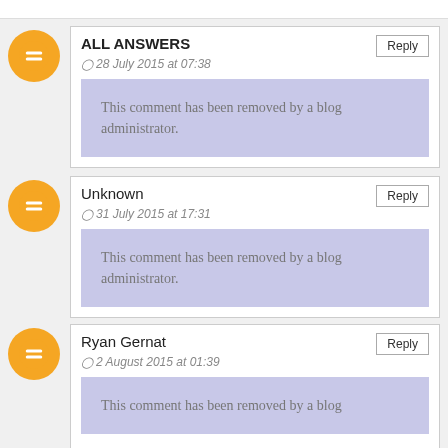ALL ANSWERS
28 July 2015 at 07:38
This comment has been removed by a blog administrator.
Unknown
31 July 2015 at 17:31
This comment has been removed by a blog administrator.
Ryan Gernat
2 August 2015 at 01:39
This comment has been removed by a blog